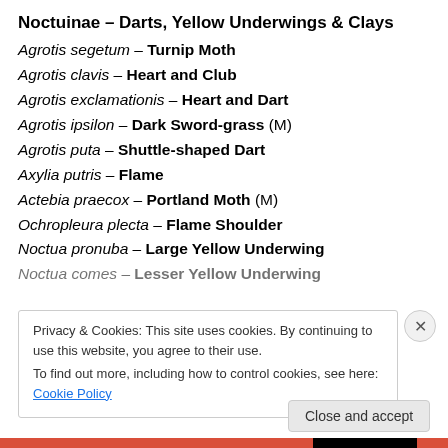Noctuinae – Darts, Yellow Underwings & Clays
Agrotis segetum – Turnip Moth
Agrotis clavis – Heart and Club
Agrotis exclamationis – Heart and Dart
Agrotis ipsilon – Dark Sword-grass (M)
Agrotis puta – Shuttle-shaped Dart
Axylia putris – Flame
Actebia praecox – Portland Moth (M)
Ochropleura plecta – Flame Shoulder
Noctua pronuba – Large Yellow Underwing
Noctua comes – Lesser Yellow Underwing
Privacy & Cookies: This site uses cookies. By continuing to use this website, you agree to their use.
To find out more, including how to control cookies, see here: Cookie Policy